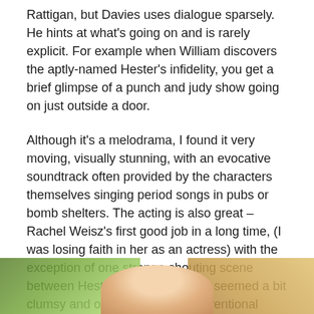Rattigan, but Davies uses dialogue sparsely. He hints at what's going on and is rarely explicit. For example when William discovers the aptly-named Hester's infidelity, you get a brief glimpse of a punch and judy show going on just outside a door.
Although it's a melodrama, I found it very moving, visually stunning, with an evocative soundtrack often provided by the characters themselves singing period songs in pubs or bomb shelters. The acting is also great – Rachel Weisz's first good job in a long time, (I was losing faith in her as an actress) with the exception of one strange shouting scene between Hester and Freddie that seemed a bit clumsy and overdone. Not a conventional movie, but a beautiful and moving one.
[Figure (photo): Partial view of a photo showing a person with blonde hair against a colorful background with green foliage and warm tones on the right.]